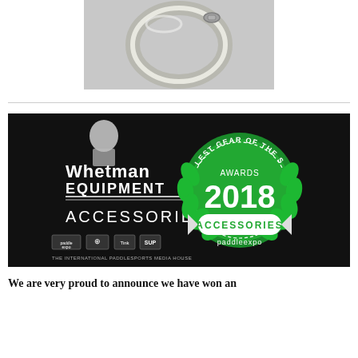[Figure (photo): A silver/stainless steel oval carabiner or ring hardware on a grey background]
[Figure (photo): Whetman Equipment Accessories banner on black background with a green 'Coolest Gear of the Show Awards 2018 Accessories paddleexpo' badge on the right side, and logos of paddle sports media at the bottom]
We are very proud to announce we have won an